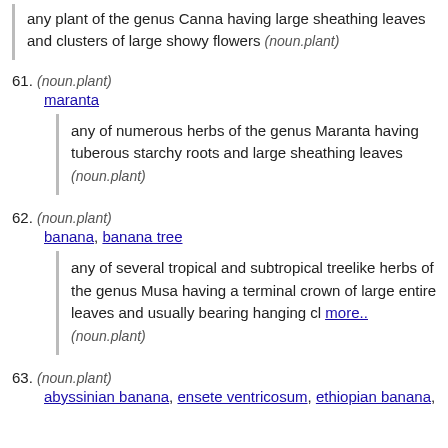any plant of the genus Canna having large sheathing leaves and clusters of large showy flowers (noun.plant)
61. (noun.plant)
maranta
any of numerous herbs of the genus Maranta having tuberous starchy roots and large sheathing leaves (noun.plant)
62. (noun.plant)
banana, banana tree
any of several tropical and subtropical treelike herbs of the genus Musa having a terminal crown of large entire leaves and usually bearing hanging cl more.. (noun.plant)
63. (noun.plant)
abyssinian banana, ensete ventricosum, ethiopian banana,